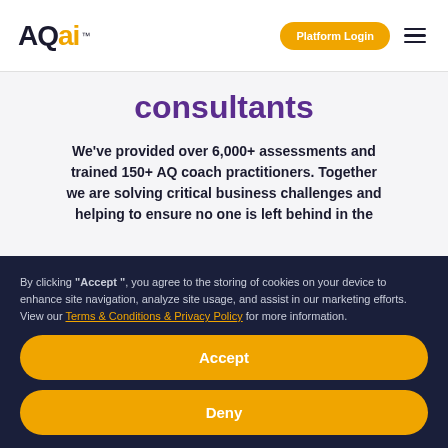AQai™ — Platform Login [navigation header]
consultants
We've provided over 6,000+ assessments and trained 150+ AQ coach practitioners. Together we are solving critical business challenges and helping to ensure no one is left behind in the
By clicking "Accept", you agree to the storing of cookies on your device to enhance site navigation, analyze site usage, and assist in our marketing efforts. View our Terms & Conditions & Privacy Policy for more information.
Accept
Deny